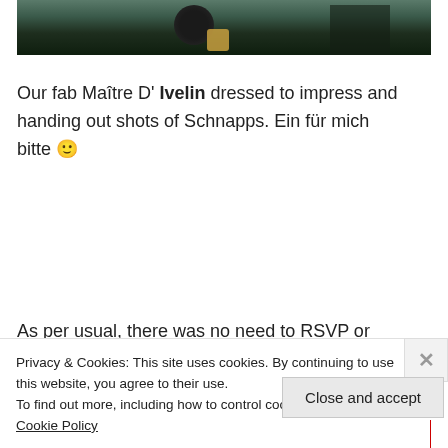[Figure (photo): Partial view of a person dressed in dark clothes, likely a Maitre D' holding a glass, against a teal/dark background. Bottom portion of an image.]
Our fab Maître D' Ivelin dressed to impress and handing out shots of Schnapps. Ein für mich bitte 🙂
As per usual, there was no need to RSVP or
Privacy & Cookies: This site uses cookies. By continuing to use this website, you agree to their use.
To find out more, including how to control cookies, see here: Cookie Policy
Close and accept
[Figure (photo): Bottom strip of a photo showing a red banner and a dark figure, partially visible.]